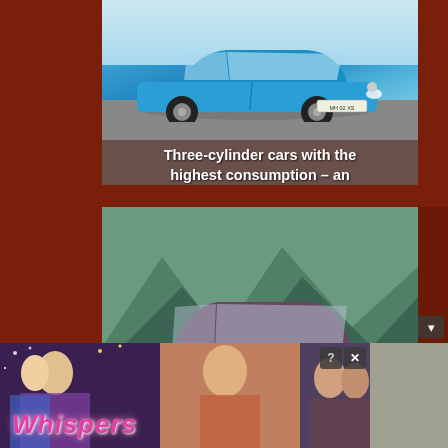[Figure (photo): Blue Volkswagen Polo hatchback car on a road, with article title overlay at the bottom]
Three-cylinder cars with the highest consumption – an awful combination
[Figure (photo): Dark purple/maroon Bentley Arnage T luxury car parked with mountains in background, with article title overlay at the bottom]
These 10 vehicles with turbo engines have the highest fuel consumption
[Figure (photo): Whispers interactive story game advertisement banner with romantic scene imagery and stylized Whispers logo]